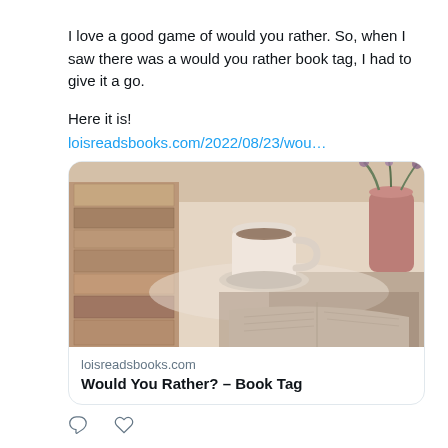I love a good game of would you rather. So, when I saw there was a would you rather book tag, I had to give it a go.

Here it is!
loisreadsbooks.com/2022/08/23/wou…
[Figure (screenshot): Link preview card showing a book blog post image (stacked books, coffee cup, open book on table) with domain loisreadsbooks.com and title 'Would You Rather? – Book Tag']
Lois 🐧 @loisreadsbooks · Aug 21
⭐ New Post! ⭐